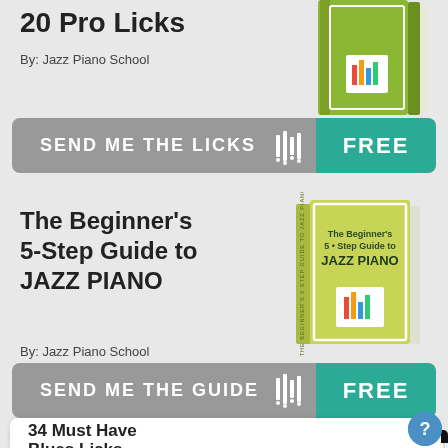20 Pro Licks
By: Jazz Piano School
[Figure (illustration): Green book cover with Jazz Piano School branding]
[Figure (infographic): Button: SEND ME THE LICKS [barcode icon] FREE (teal)]
The Beginner's 5-Step Guide to JAZZ PIANO
By: Jazz Piano School
[Figure (illustration): Yellow-green book cover: The Beginner's 5-Step Guide to JAZZ PIANO]
[Figure (infographic): Button: SEND ME THE GUIDE [barcode icon] FREE (teal)]
34 Must Have Blues Licks
[Figure (photo): Piano keyboard with hands playing, partially visible]